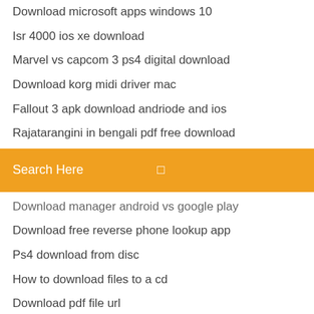Download microsoft apps windows 10
Isr 4000 ios xe download
Marvel vs capcom 3 ps4 digital download
Download korg midi driver mac
Fallout 3 apk download andriode and ios
Rajatarangini in bengali pdf free download
[Figure (screenshot): Orange search bar with placeholder text 'Search Here' and a small icon on the right]
Download manager android vs google play
Download free reverse phone lookup app
Ps4 download from disc
How to download files to a cd
Download pdf file url
Torrent has bunch of seed but wont download
Connectrightmailer windows 10 download
Download groove on album gerald levert torrent
Live me chat app download
Download samsung tab driver firmware
Fallout shelter 1.13.1 apk and data download